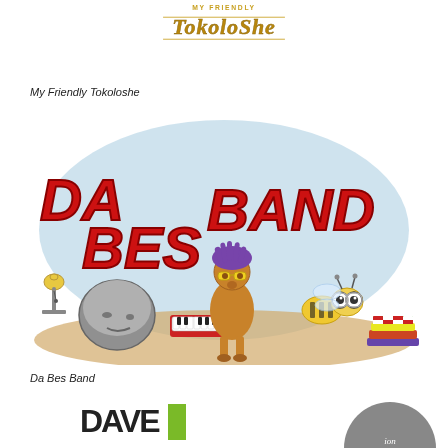[Figure (logo): MY FRIENDLY TOKOLOSHE stylized logo with golden decorative text]
My Friendly Tokoloshe
[Figure (illustration): Cartoon illustration of 'DA BES BAND' in large red letters. Characters include a rock creature, a brown humanoid figure with purple spiky hair and yellow glasses, a cartoon bee, a bell on a stand, a keyboard instrument, and colorful stacked boards/pads. Blue sky backdrop with sandy ground.]
Da Bes Band
[Figure (logo): Partial bottom bar with publisher logos partially visible]